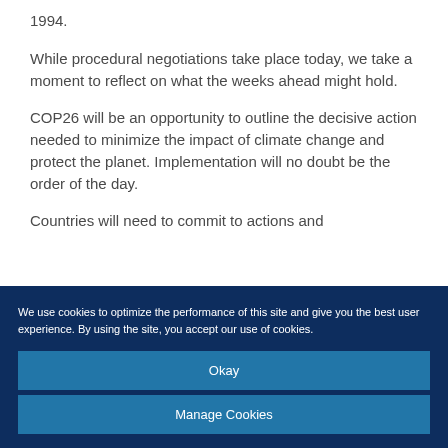1994.
While procedural negotiations take place today, we take a moment to reflect on what the weeks ahead might hold.
COP26 will be an opportunity to outline the decisive action needed to minimize the impact of climate change and protect the planet. Implementation will no doubt be the order of the day.
Countries will need to commit to actions and
We use cookies to optimize the performance of this site and give you the best user experience. By using the site, you accept our use of cookies.
Okay
Manage Cookies